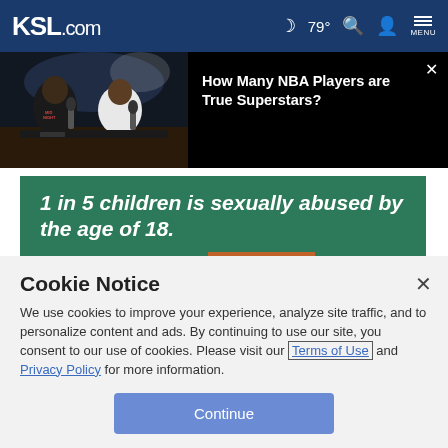KSL.com — 79° MENU
[Figure (screenshot): Video thumbnail showing two people at a podcast desk with microphones, basketball court in background; title overlay: 'How Many NBA Players are True Superstars?']
[Figure (photo): Advertisement banner: green background, '1 in 5 children is sexually abused by the age of 18. PROTECT YOUR CHILD. LEARN MORE']
Cookie Notice
We use cookies to improve your experience, analyze site traffic, and to personalize content and ads. By continuing to use our site, you consent to our use of cookies. Please visit our Terms of Use and Privacy Policy for more information.
Continue